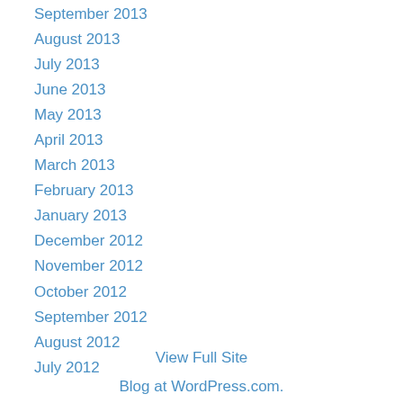September 2013
August 2013
July 2013
June 2013
May 2013
April 2013
March 2013
February 2013
January 2013
December 2012
November 2012
October 2012
September 2012
August 2012
July 2012
View Full Site
Blog at WordPress.com.